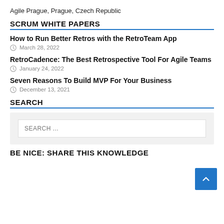Agile Prague, Prague, Czech Republic
SCRUM WHITE PAPERS
How to Run Better Retros with the RetroTeam App
March 28, 2022
RetroCadence: The Best Retrospective Tool For Agile Teams
January 24, 2022
Seven Reasons To Build MVP For Your Business
December 13, 2021
SEARCH
SEARCH ...
BE NICE: SHARE THIS KNOWLEDGE